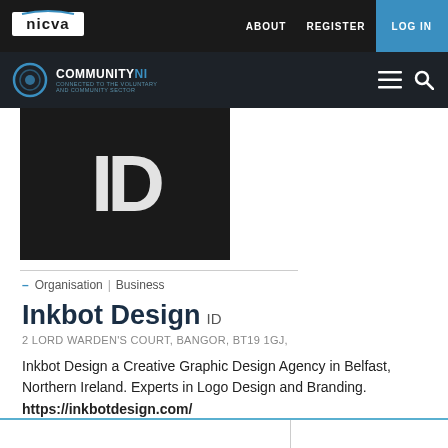nicva  ABOUT  REGISTER  LOG IN
[Figure (logo): CommunityNI logo with circular icon and text]
[Figure (logo): Inkbot Design ID logo — large white 'ID' letters on black background]
– Organisation | Business
Inkbot Design ID
2 LORD WARDEN'S COURT, BANGOR, BT19 1GJ,
Inkbot Design a Creative Graphic Design Agency in Belfast, Northern Ireland. Experts in Logo Design and Branding. https://inkbotdesign.com/